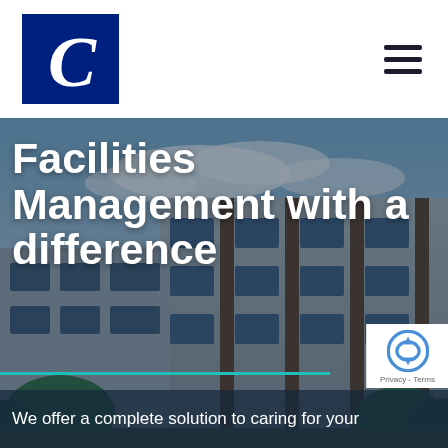[Figure (logo): Dark blue square logo with white italic serif letter C]
[Figure (photo): Modern multi-story office/commercial building exterior with glass windows, cloudy blue sky, and green trees in foreground]
Facilities Management with a difference
We offer a complete solution to caring for your